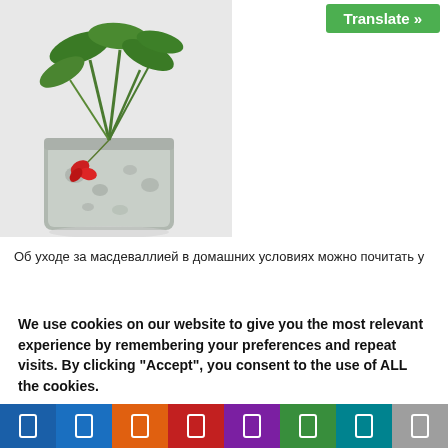[Figure (photo): Photo of a potted plant with green leaves and small red flowers in a mottled gray/white ceramic pot on a light surface]
Translate »
Об уходе за масдеваллией в домашних условиях можно почитать у
We use cookies on our website to give you the most relevant experience by remembering your preferences and repeat visits. By clicking "Accept", you consent to the use of ALL the cookies.
Do not sell my personal information.
Cookie Settings
Accept